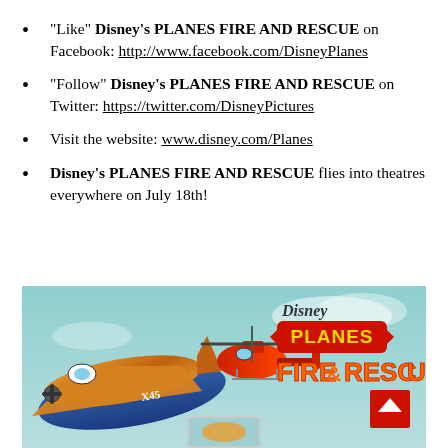“Like” Disney’s PLANES FIRE AND RESCUE on Facebook: http://www.facebook.com/DisneyPlanes
“Follow” Disney’s PLANES FIRE AND RESCUE on Twitter: https://twitter.com/DisneyPictures
Visit the website: www.disney.com/Planes
Disney’s PLANES FIRE AND RESCUE flies into theatres everywhere on July 18th!
[Figure (photo): Disney Planes Fire & Rescue movie promotional image showing animated airplane characters Dusty and a red helicopter, with the movie title logo 'Disney Planes Fire & Rescue' on a teal sky background.]